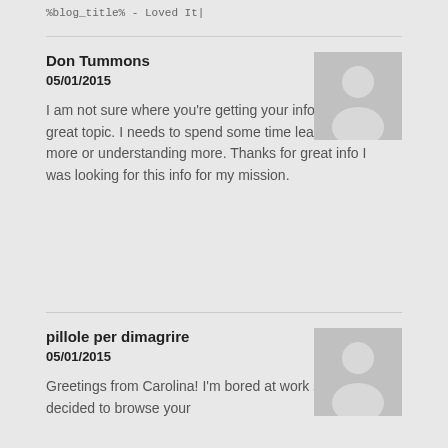%blog_title% - Loved It|
Don Tummons
05/01/2015

I am not sure where you're getting your info, but great topic. I needs to spend some time learning more or understanding more. Thanks for great info I was looking for this info for my mission.
[Figure (illustration): Grey avatar placeholder image with silhouette of a person]
pillole per dimagrire
05/01/2015

Greetings from Carolina! I'm bored at work so I decided to browse your
[Figure (illustration): Grey avatar placeholder image with silhouette of a person]